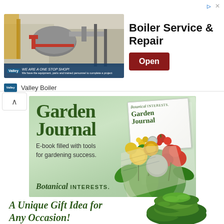[Figure (infographic): Ad banner for Valley Boiler Service and Repair with industrial boiler image, headline 'Boiler Service & Repair', dark red 'Open' button, and Valley Boiler brand name below]
[Figure (infographic): Garden Journal e-book advertisement banner with green background, large text 'Garden Journal', subtitle 'E-book filled with tools for gardening success.', Botanical Interests branding, and decorative book cover with flowers and vegetables]
A Unique Gift Idea for Any Occasion!